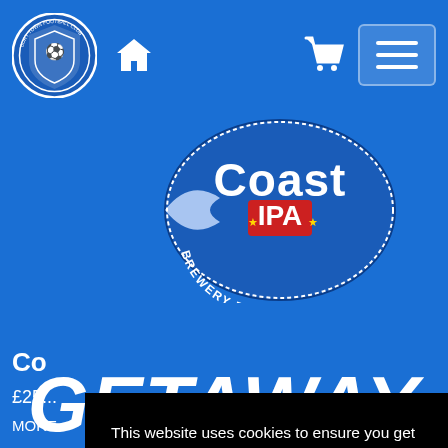Bury Town Football Club – navigation header with club logo, home icon, cart, and menu button
[Figure (logo): Coast IPA Brewery Est. 1799 circular logo with blue and red design]
GETAWAY CARS
Co...
£25...
MORE...
This website uses cookies to ensure you get the best experience on our website. Learn more Got it!